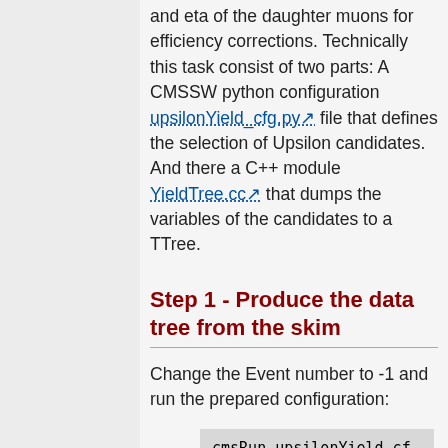and eta of the daughter muons for efficiency corrections. Technically this task consist of two parts: A CMSSW python configuration upsilonYield_cfg.py file that defines the selection of Upsilon candidates. And there a C++ module YieldTree.cc that dumps the variables of the candidates to a TTree.
Step 1 - Produce the data tree from the skim
Change the Event number to -1 and run the prepared configuration:
cmsRun upsilonYield_cf